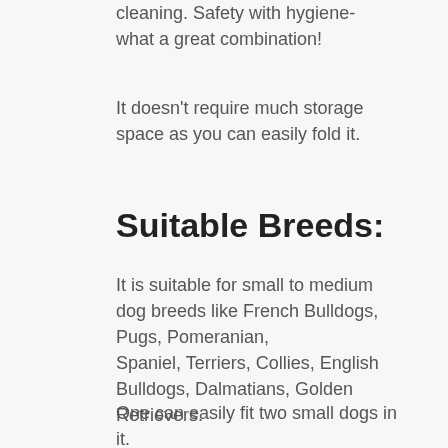cleaning. Safety with hygiene- what a great combination!
It doesn't require much storage space as you can easily fold it.
Suitable Breeds:
It is suitable for small to medium dog breeds like French Bulldogs, Pugs, Pomeranian, Spaniel, Terriers, Collies, English Bulldogs, Dalmatians, Golden Retrievers.
One can easily fit two small dogs in it.